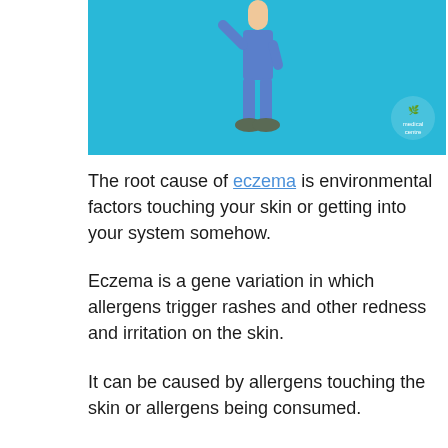[Figure (illustration): A light blue background illustration showing a person in blue outfit with a logo/crest in the bottom right corner.]
The root cause of eczema is environmental factors touching your skin or getting into your system somehow.
Eczema is a gene variation in which allergens trigger rashes and other redness and irritation on the skin.
It can be caused by allergens touching the skin or allergens being consumed.
Common foods may trigger flare-ups. If this is the case, you should remove them from